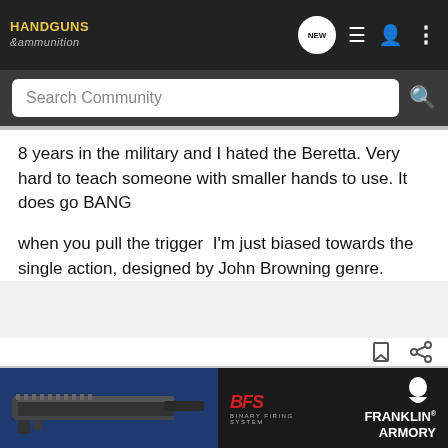HANDGUNS & ammunition — navigation bar with search
8 years in the military and I hated the Beretta. Very hard to teach someone with smaller hands to use. It does go BANG

when you pull the trigger  I'm just biased towards the single action, designed by John Browning genre.
[Figure (screenshot): Advertisement showing a firearm (pistol carbine kit) on blue background, with Franklin Armory BFS ad banner below showing a shooter and red BFS logo]